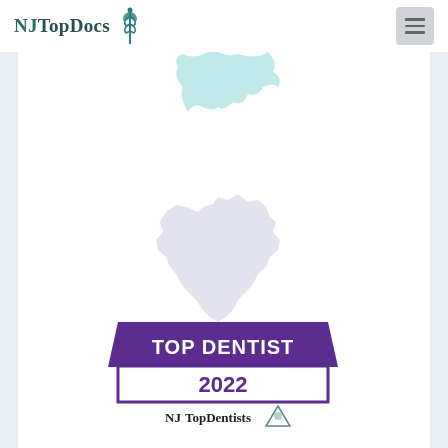NJ TopDocs
[Figure (logo): NJ TopDocs website header with teal logo text and caduceus symbol, hamburger menu button on right]
[Figure (illustration): Decorative image area with light teal NJ state silhouette shape at top partially visible, and a larger light purple NJ state silhouette shape in the lower center, topped by a Top Dentist 2022 award badge in purple and white, with NJ Top Dentists logo text at bottom]